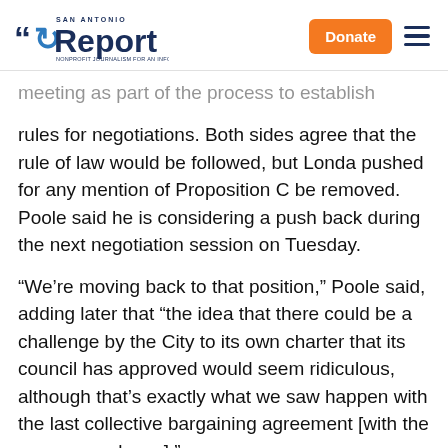San Antonio Report — Donate
meeting as part of the process to establish ground rules for negotiations. Both sides agree that the rule of law would be followed, but Londa pushed for any mention of Proposition C be removed. Poole said he is considering a push back during the next negotiation session on Tuesday.
“We’re moving back to that position,” Poole said, adding later that “the idea that there could be a challenge by the City to its own charter that its council has approved would seem ridiculous, although that’s exactly what we saw happen with the last collective bargaining agreement [with the evergreen clause].”